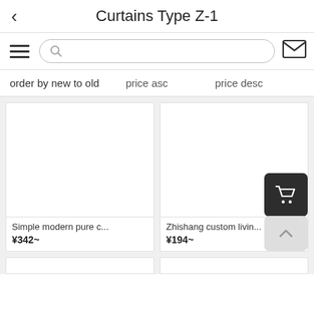Curtains Type Z-1
[Figure (screenshot): Search bar row with hamburger menu, search input, and mail icon]
order by new to old   price asc   price desc
[Figure (photo): Product image placeholder for Simple modern pure c...]
Simple modern pure c...
¥342~
[Figure (photo): Product image placeholder for Zhishang custom livin...]
Zhishang custom livin...
¥194~